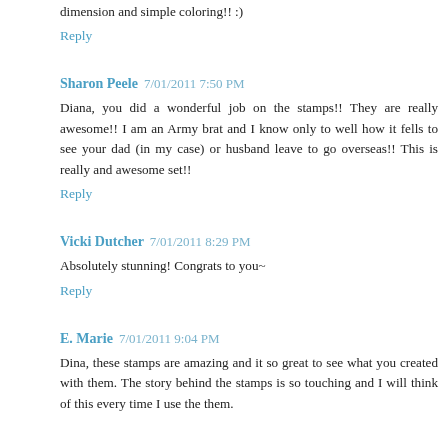dimension and simple coloring!! :)
Reply
Sharon Peele  7/01/2011 7:50 PM
Diana, you did a wonderful job on the stamps!! They are really awesome!! I am an Army brat and I know only to well how it fells to see your dad (in my case) or husband leave to go overseas!! This is really and awesome set!!
Reply
Vicki Dutcher  7/01/2011 8:29 PM
Absolutely stunning! Congrats to you~
Reply
E. Marie  7/01/2011 9:04 PM
Dina, these stamps are amazing and it so great to see what you created with them. The story behind the stamps is so touching and I will think of this every time I use the them.